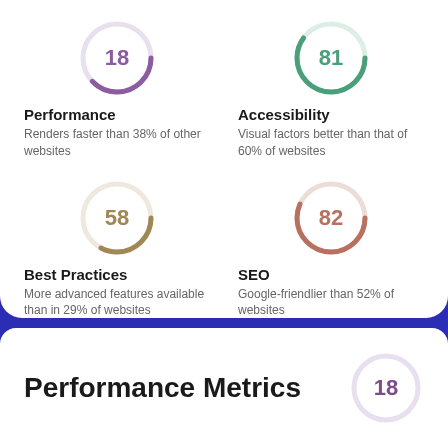[Figure (infographic): Four metric gauges: Performance 18, Accessibility 81, Best Practices 58, SEO 82]
Performance
Renders faster than 38% of other websites
Accessibility
Visual factors better than that of 60% of websites
Best Practices
More advanced features available than in 29% of websites
SEO
Google-friendlier than 52% of websites
Performance Metrics
[Figure (infographic): Gauge showing 18]